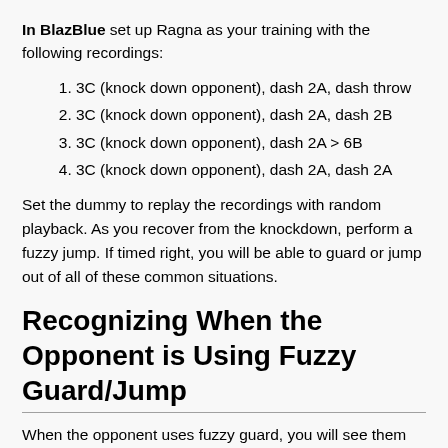In BlazBlue set up Ragna as your training with the following recordings:
1. 3C (knock down opponent), dash 2A, dash throw
2. 3C (knock down opponent), dash 2A, dash 2B
3. 3C (knock down opponent), dash 2A > 6B
4. 3C (knock down opponent), dash 2A, dash 2A
Set the dummy to replay the recordings with random playback. As you recover from the knockdown, perform a fuzzy jump. If timed right, you will be able to guard or jump out of all of these common situations.
Recognizing When the Opponent is Using Fuzzy Guard/Jump
When the opponent uses fuzzy guard, you will see them switch from blocking low to blocking high, then back to low again. If you see them fidgeting between low and high block when you're not doing anything, they're probably using Fuzzy Defense.
You can also recognize this in the middle of your blockstring by